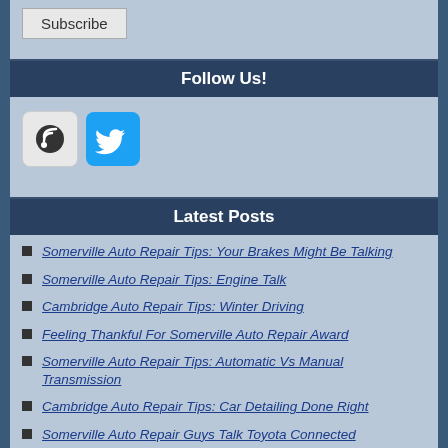Subscribe
Follow Us!
[Figure (illustration): Two social media icons: a dark RSS/feed icon and a Twitter bird icon on blue background]
Latest Posts
Somerville Auto Repair Tips: Your Brakes Might Be Talking
Somerville Auto Repair Tips: Engine Talk
Cambridge Auto Repair Tips: Winter Driving
Feeling Thankful For Somerville Auto Repair Award
Somerville Auto Repair Tips: Automatic Vs Manual Transmission
Cambridge Auto Repair Tips: Car Detailing Done Right
Somerville Auto Repair Guys Talk Toyota Connected
Cambridge Auto Repair Talk: Questions To Ask Your Auto Shop
Somerville Tire Shop Tips: Tread Carefully